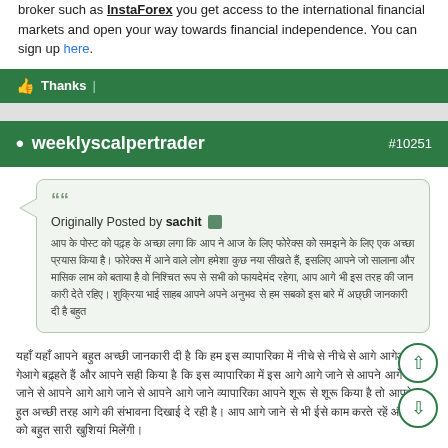broker such as InstaForex you get access to the international financial markets and open your way towards financial independence. You can sign up here.
👍 Thanks |
• weeklyscalpertrader #10251
Originally Posted by sachit [quoted text in Hindi/Devanagari script]
[Main response text in Hindi/Devanagari script]